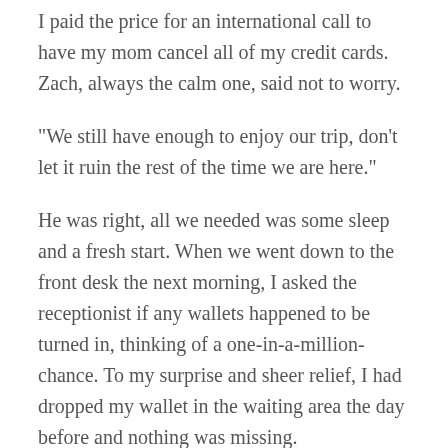I paid the price for an international call to have my mom cancel all of my credit cards.  Zach, always the calm one, said not to worry.
“We still have enough to enjoy our trip, don’t let it ruin the rest of the time we are here.”
He was right, all we needed was some sleep and a fresh start.  When we went down to the front desk the next morning, I asked the receptionist if any wallets happened to be turned in, thinking of a one-in-a-million-chance.  To my surprise and sheer relief, I had dropped my wallet in the waiting area the day before and nothing was missing.
I learned that with travelling, things don’t always